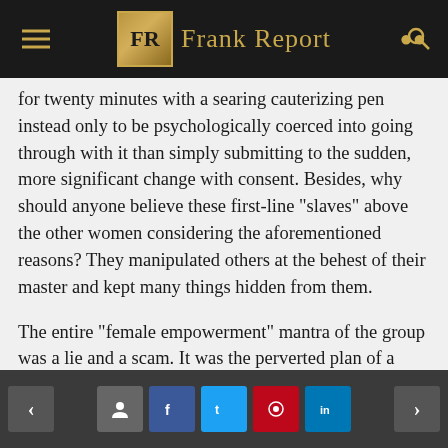Frank Report
for twenty minutes with a searing cauterizing pen instead only to be psychologically coerced into going through with it than simply submitting to the sudden, more significant change with consent. Besides, why should anyone believe these first-line “slaves” above the other women considering the aforementioned reasons? They manipulated others at the behest of their master and kept many things hidden from them.
The entire “female empowerment” mantra of the group was a lie and a scam. It was the perverted plan of a dirty, old man to find sex partners, enabled by a bunch of con-artist women just like him. In retrospect, it’s very clear to see. What is so “female” empowering about
Navigation and social sharing buttons